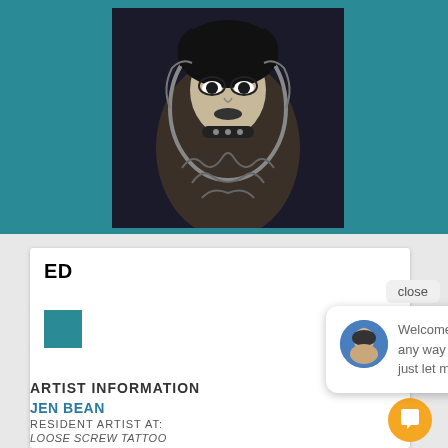[Figure (photo): Black and white tattoo on an arm showing a gothic female portrait with elaborate decorative framing, dark eye makeup, and ornamental details]
close
ED
[Figure (photo): Small circular avatar photo of a person, used as chat profile picture]
Welcome! If there is any way I can help, just let me know here.
ARTIST INFORMATION
JEN BEAN
RESIDENT ARTIST AT:
LOOSE SCREW TATTOO